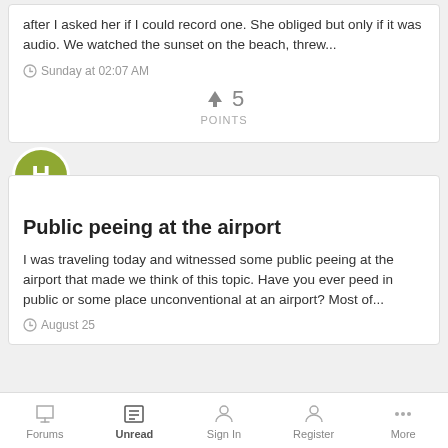after I asked her if I could record one. She obliged but only if it was audio. We watched the sunset on the beach, threw...
Sunday at 02:07 AM
5 POINTS
Public peeing at the airport
I was traveling today and witnessed some public peeing at the airport that made we think of this topic. Have you ever peed in public or some place unconventional at an airport? Most of...
August 25
Forums   Unread   Sign In   Register   More